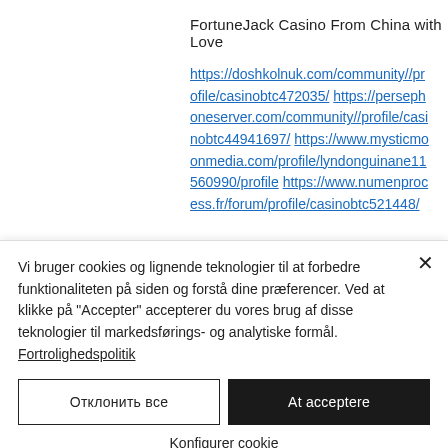FortuneJack Casino From China with Love
https://doshkolnuk.com/community//profile/casinobtc472035/ https://persephoneserver.com/community//profile/casinobtc44941697/ https://www.mysticmoonmedia.com/profile/lyndonguinane11560990/profile https://www.numenprocess.fr/forum/profile/casinobtc521448/
Vi bruger cookies og lignende teknologier til at forbedre funktionaliteten på siden og forstå dine præferencer. Ved at klikke på &quot;Accepter&quot; accepterer du vores brug af disse teknologier til markedsførings- og analytiske formål. Fortrolighedspolitik
Отклонить все
At acceptere
Konfigurer cookie